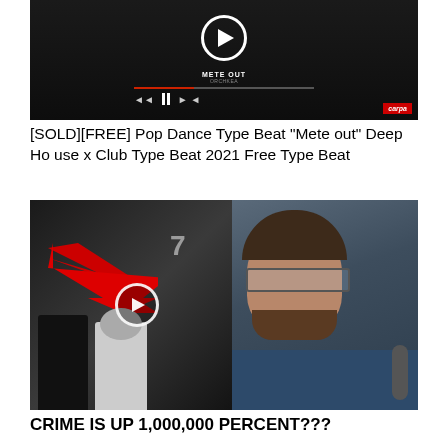[Figure (screenshot): YouTube video thumbnail showing a dark music player interface with play controls, progress bar, and 'METE OUT' track title. Red 'carpa' badge in bottom right corner.]
[SOLD][FREE] Pop Dance Type Beat "Mete out" Deep House x Club Type Beat 2021 Free Type Beat
[Figure (screenshot): YouTube video thumbnail showing a split screen: left side has security footage of two figures with a large red arrow pointing at them and a play button overlay; right side shows a bearded man with glasses speaking into a microphone.]
CRIME IS UP 1,000,000 PERCENT???